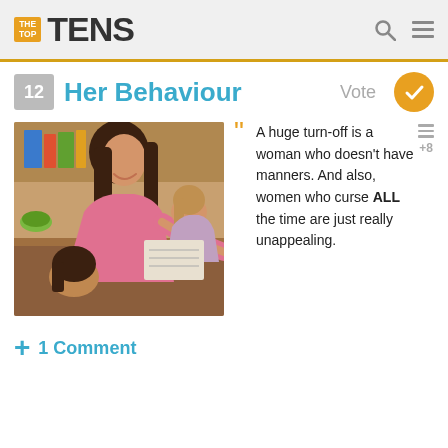THE TOP TENS
12 Her Behaviour
[Figure (photo): A smiling woman in a pink top leaning over to help a young child at a desk; another child is visible in the background in a classroom setting.]
A huge turn-off is a woman who doesn't have manners. And also, women who curse ALL the time are just really unappealing.
+ 1 Comment